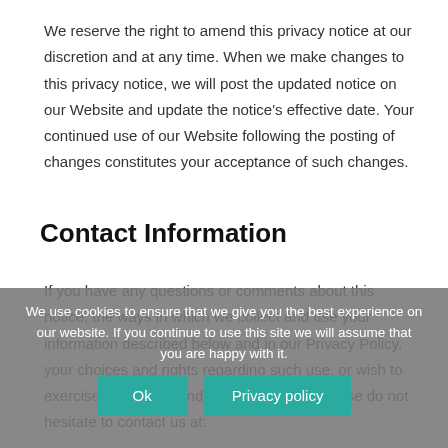We reserve the right to amend this privacy notice at our discretion and at any time. When we make changes to this privacy notice, we will post the updated notice on our Website and update the notice's effective date. Your continued use of our Website following the posting of changes constitutes your acceptance of such changes.
Contact Information
If you have any questions or comments about this notice, the ways in which we collect and use your information described below and in our Privacy Policy, your choices and rights regarding such use, or wish to exercise your rights under California law, please do not hesitate to contact us at:
Phone:
Website: https://lifewithinhim.com
Email:
We use cookies to ensure that we give you the best experience on our website. If you continue to use this site we will assume that you are happy with it.